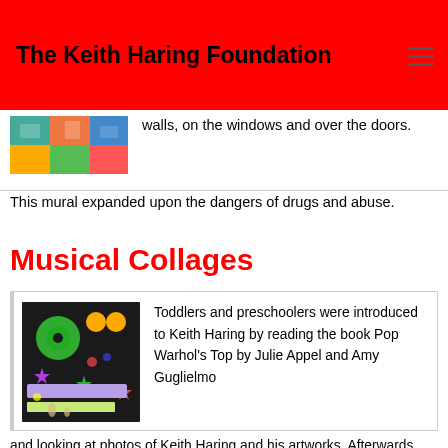The Keith Haring Foundation
[Figure (photo): Colorful photo thumbnail at top of page]
walls, on the windows and over the doors. This mural expanded upon the dangers of drugs and abuse.
Musical Collages
[Figure (photo): Photo of a colorful mixed-media collage on dark background with green spiral, orange circles, purple strip, and green bar]
Toddlers and preschoolers were introduced to Keith Haring by reading the book Pop Warhol's Top by Julie Appel and Amy Guglielmo and looking at photos of Keith Haring and his artworks. Afterwards, the children used various materials to make their own musical mixed media